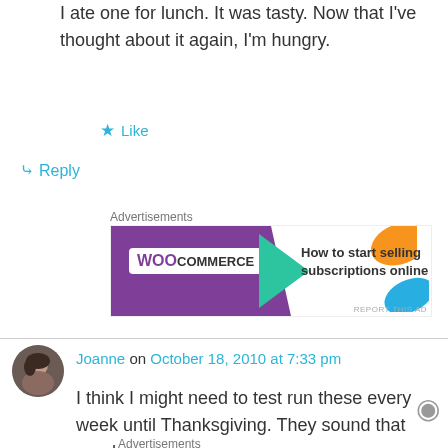I ate one for lunch. It was tasty. Now that I've thought about it again, I'm hungry.
★ Like
↪ Reply
Advertisements
[Figure (screenshot): WooCommerce advertisement banner: purple background with WooCommerce logo, green arrow, text 'How to start selling subscriptions online', orange and blue decorative shapes]
Joanne on October 18, 2010 at 7:33 pm
I think I might need to test run these every week until Thanksgiving. They sound that good.
Advertisements
[Figure (screenshot): ULTA beauty advertisement banner with makeup images and SHOP NOW text]